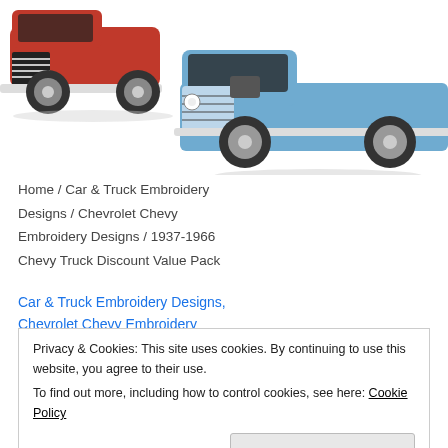[Figure (illustration): Two embroidery design illustrations of vintage Chevrolet trucks: a red 1950s-era Chevy truck on the upper left and a blue 1937-era Chevy truck on the right, both shown in embroidery stitch style artwork.]
Home / Car & Truck Embroidery Designs / Chevrolet Chevy Embroidery Designs / 1937-1966 Chevy Truck Discount Value Pack
Car & Truck Embroidery Designs, Chevrolet Chevy Embroidery Designs, Discount Embroidery...
Privacy & Cookies: This site uses cookies. By continuing to use this website, you agree to their use.
To find out more, including how to control cookies, see here: Cookie Policy
Close and accept
Discount Value